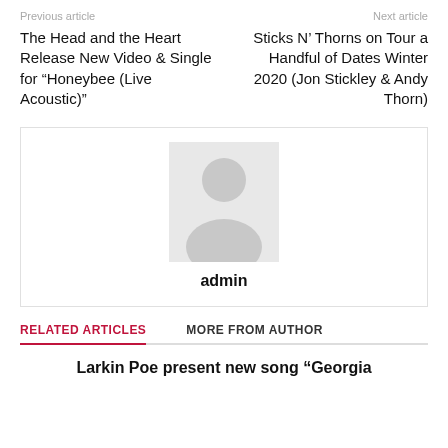Previous article
Next article
The Head and the Heart Release New Video & Single for “Honeybee (Live Acoustic)”
Sticks N’ Thorns on Tour a Handful of Dates Winter 2020 (Jon Stickley & Andy Thorn)
[Figure (illustration): Default avatar placeholder image showing a generic user silhouette (head and shoulders) on a light gray background]
admin
RELATED ARTICLES
MORE FROM AUTHOR
Larkin Poe present new song “Georgi